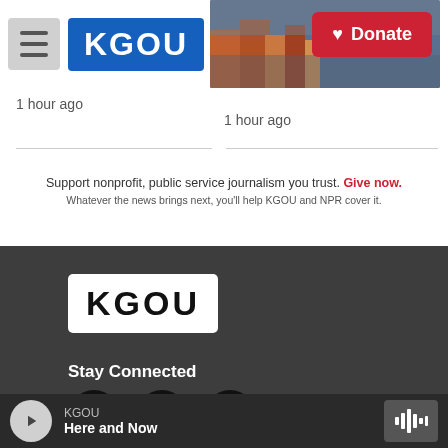KGOU | Donate
1 hour ago
1 hour ago
Support nonprofit, public service journalism you trust. Give now. Whatever the news brings next, you'll help KGOU and NPR cover it.
[Figure (logo): KGOU logo in white box on dark background in footer]
Stay Connected
[Figure (infographic): Social media icons: Twitter, Instagram, Facebook]
© 2022 KGOU
KGOU Here and Now